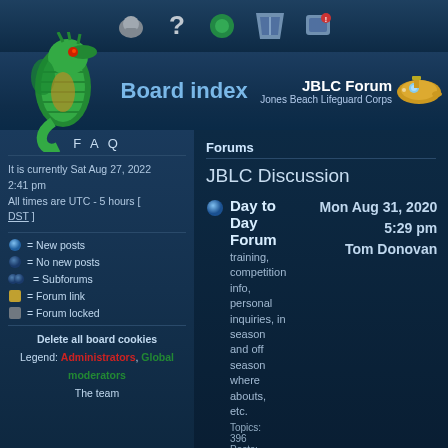Board index — JBLC Forum — Jones Beach Lifeguard Corps
FAQ
It is currently Sat Aug 27, 2022 2:41 pm
All times are UTC - 5 hours [ DST ]
= New posts
= No new posts
= Subforums
= Forum link
= Forum locked
Delete all board cookies
Legend: Administrators, Global moderators
The team
Forums
JBLC Discussion
Day to Day Forum
training, competition info, personal inquiries, in season and off season where abouts, etc.
Topics: 396
Posts: 545
Mon Aug 31, 2020 5:29 pm
Tom Donovan
Bucket and Buoy
Weekly Lifeguard Newsletter
Topics: 95
Posts: 120
Fri Jun 07, 2013 11:52 pm
Admin
Union / WSO
Executive board, Shop Stewards, Water